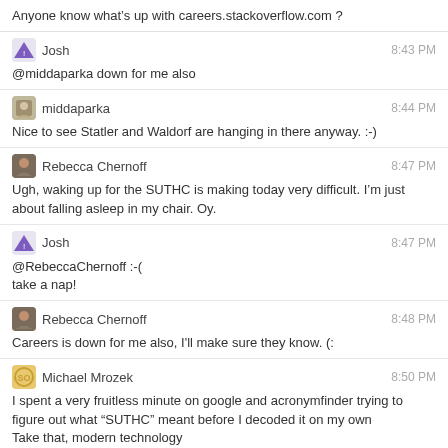Anyone know what’s up with careers.stackoverflow.com ?
Josh 8:43 PM
@middaparka down for me also
middaparka 8:44 PM
Nice to see Statler and Waldorf are hanging in there anyway. :-)
Rebecca Chernoff 8:47 PM
Ugh, waking up for the SUTHC is making today very difficult. I’m just about falling asleep in my chair. Oy.
Josh 8:47 PM
@RebeccaChernoff :-(
take a nap!
Rebecca Chernoff 8:48 PM
Careers is down for me also, I'll make sure they know. (:
Michael Mrozek 8:50 PM
I spent a very fruitless minute on google and acronymfinder trying to figure out what "SUTHC" meant before I decoded it on my own
Take that, modern technology
Josh 8:50 PM
LOL
Worse, I got an email about SOTHC and somehow assumed that meas SUTHC